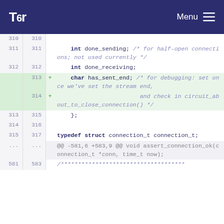Tor — Menu
Code diff showing addition of has_sent_end field to connection struct in Tor source code
[Figure (screenshot): Source code diff view from the Tor project website showing lines 310-317 and 581-583 of a C header file, with added lines 313-314 for char has_sent_end field with debugging comment]